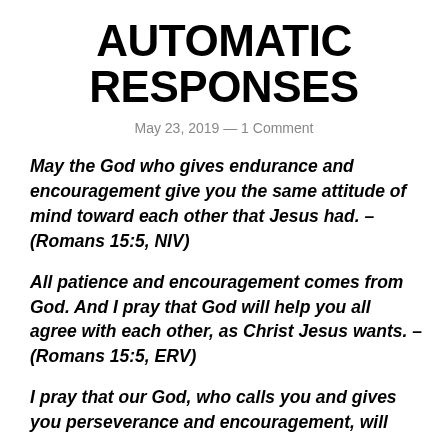AUTOMATIC RESPONSES
May 23, 2019 — 1 Comment
May the God who gives endurance and encouragement give you the same attitude of mind toward each other that Jesus had. – (Romans 15:5, NIV)
All patience and encouragement comes from God. And I pray that God will help you all agree with each other, as Christ Jesus wants. – (Romans 15:5, ERV)
I pray that our God, who calls you and gives you perseverance and encouragement, will...